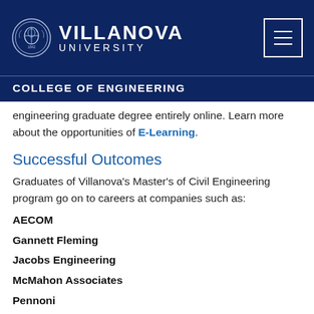[Figure (logo): Villanova University logo with emblem on left and text 'VILLANOVA UNIVERSITY' on right, white text on dark navy background, plus hamburger menu button in top right corner]
COLLEGE OF ENGINEERING
engineering graduate degree entirely online. Learn more about the opportunities of E-Learning.
Successful Outcomes
Graduates of Villanova's Master's of Civil Engineering program go on to careers at companies such as:
AECOM
Gannett Fleming
Jacobs Engineering
McMahon Associates
Pennoni